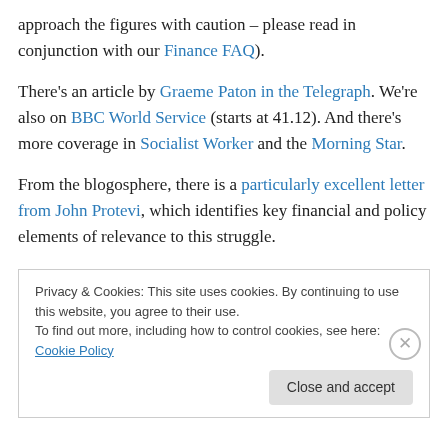approach the figures with caution – please read in conjunction with our Finance FAQ).
There's an article by Graeme Paton in the Telegraph. We're also on BBC World Service (starts at 41.12). And there's more coverage in Socialist Worker and the Morning Star.
From the blogosphere, there is a particularly excellent letter from John Protevi, which identifies key financial and policy elements of relevance to this struggle.
Privacy & Cookies: This site uses cookies. By continuing to use this website, you agree to their use. To find out more, including how to control cookies, see here: Cookie Policy